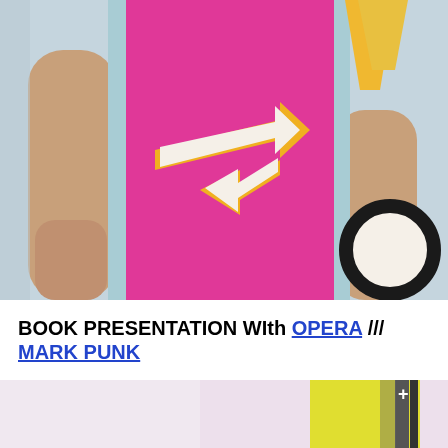[Figure (photo): Fashion photo: person wearing bright pink/magenta sleeveless dress with a large white and yellow arrow graphic appliqué on the front. Light blue/mint vertical stripe on one side, yellow ribbon/bow at top. Person holds a black and white hat. Background is light grey-blue.]
BOOK PRESENTATION WIth OPERA /// MARK PUNK
[Figure (photo): Partial fashion photo at bottom: light pink background with yellow and grey structural/constructivist elements visible at right edge.]